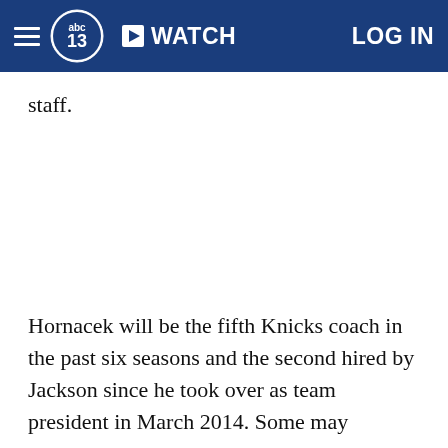abc13 | WATCH | LOG IN
staff.
Hornacek will be the fifth Knicks coach in the past six seasons and the second hired by Jackson since he took over as team president in March 2014. Some may